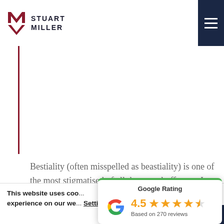Stuart Miller - law firm logo and navigation
Bestiality (often misspelled as beastiality) is one of the most stigmatised of all the sexual offences. It relates to se... animals. Have v...
[Figure (infographic): Google Rating widget showing 4.5 stars based on 270 reviews]
This website uses coo... experience on our we... Settings Accept